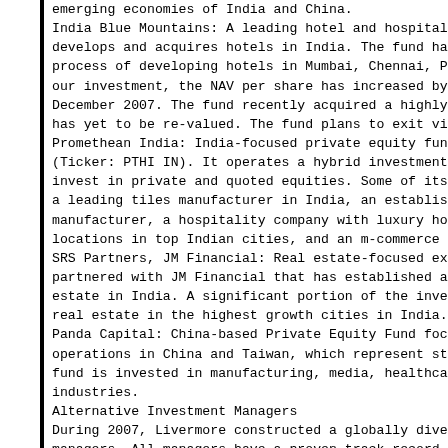emerging economies of India and China. India Blue Mountains: A leading hotel and hospitality develops and acquires hotels in India. The fund has ac process of developing hotels in Mumbai, Chennai, Pune, our investment, the NAV per share has increased by 27. December 2007. The fund recently acquired a highly rat has yet to be re-valued. The fund plans to exit via an Promethean India: India-focused private equity fund, w (Ticker: PTHI IN). It operates a hybrid investment str invest in private and quoted equities. Some of its por a leading tiles manufacturer in India, an established manufacturer, a hospitality company with luxury hotels locations in top Indian cities, and an m-commerce play SRS Partners, JM Financial: Real estate-focused exclus partnered with JM Financial that has established a suc estate in India. A significant portion of the investme real estate in the highest growth cities in India. Panda Capital: China-based Private Equity Fund focused operations in China and Taiwan, which represent strong fund is invested in manufacturing, media, healthcare, industries.
Alternative Investment Managers
During 2007, Livermore constructed a globally diversif managers. All managers have a proven track record and individual manager contributions are...